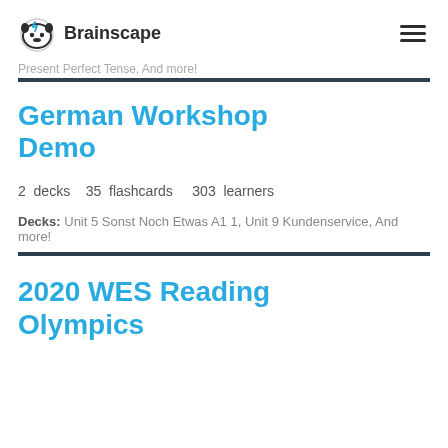Brainscape
Present Perfect Tense, And more!
German Workshop Demo
2 decks   35 flashcards   303 learners
Decks: Unit 5 Sonst Noch Etwas A1 1, Unit 9 Kundenservice, And more!
2020 WES Reading Olympics